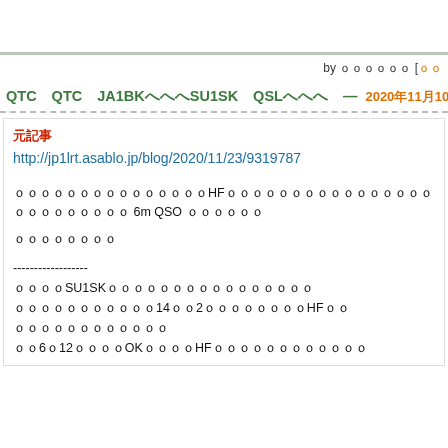by ｏｏｏｏｏｏ [ｏｏ
QTC QTC JA1BKへへへSU1SK QSLへへへ — 2020年11月10日 09時37分52秒
元記事
http://jp1lrt.asablo.jp/blog/2020/11/23/9319787
ｏｏｏｏｏｏｏｏｏｏｏｏｏｏｏHFｏｏｏｏｏｏｏｏｏｏｏｏｏｏｏｏｏｏｏｏｏｏｏｏｏ 6m QSO ｏｏｏｏｏｏ
ｏｏｏｏｏｏｏｏ
------------------
ｏｏｏｏSU1SKｏｏｏｏｏｏｏｏｏｏｏｏｏｏｏｏ
ｏｏｏｏｏｏｏｏｏｏｏ14ｏｏ2ｏｏｏｏｏｏｏｏHFｏｏ
ｏｏｏｏｏｏｏｏｏｏｏｏ
ｏｏ6ｏ12ｏｏｏｏOKｏｏｏｏHFｏｏｏｏｏｏｏｏｏｏｏｏ